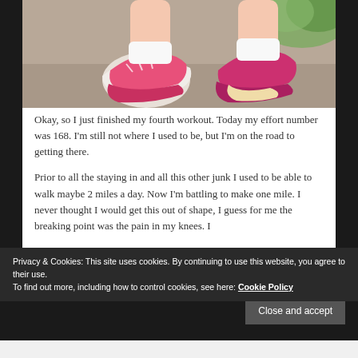[Figure (photo): Close-up photo of a person's feet wearing bright pink running/walking shoes on a pavement surface, shot from behind at ground level]
Okay, so I just finished my fourth workout. Today my effort number was 168. I'm still not where I used to be, but I'm on the road to getting there.
Prior to all the staying in and all this other junk I used to be able to walk maybe 2 miles a day. Now I'm battling to make one mile. I never thought I would get this out of shape, I guess for me the breaking point was the pain in my knees. I
Privacy & Cookies: This site uses cookies. By continuing to use this website, you agree to their use.
To find out more, including how to control cookies, see here: Cookie Policy
Close and accept